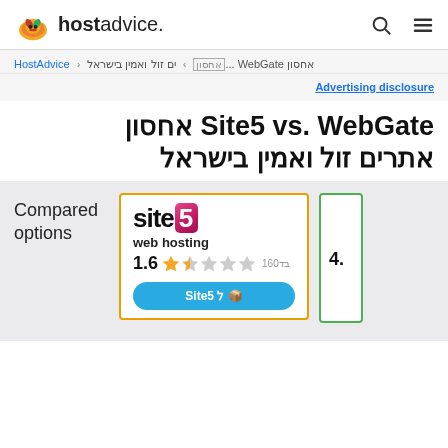hostadvice. [search] [menu]
HostAdvice > [Hebrew text] > אחסון WebGate ים זול ואמין בישראל...
Advertising disclosure
Site5 vs. WebGate אחסון אתרים זול ואמין בישראל
Compared options
[Figure (logo): Site5 web hosting logo with rating 1.6 stars and 160 reviews]
[Figure (logo): Partial card showing rating 4.x]